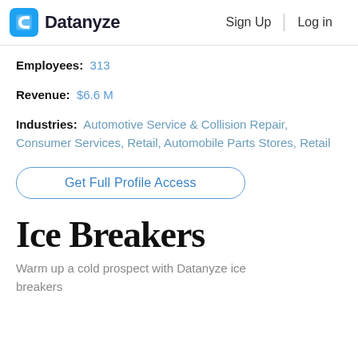Datanyze  Sign Up  Log in
Employees: 313
Revenue: $6.6 M
Industries: Automotive Service & Collision Repair, Consumer Services, Retail, Automobile Parts Stores, Retail
Get Full Profile Access
Ice Breakers
Warm up a cold prospect with Datanyze ice breakers